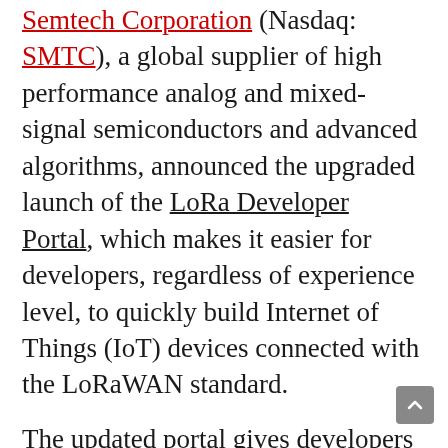Semtech Corporation (Nasdaq: SMTC), a global supplier of high performance analog and mixed-signal semiconductors and advanced algorithms, announced the upgraded launch of the LoRa Developer Portal, which makes it easier for developers, regardless of experience level, to quickly build Internet of Things (IoT) devices connected with the LoRaWAN standard.
The updated portal gives developers low-risk avenues for building with LoRa. With kits and tutorials, developers can create prototypes quickly and cost effectively to see how LoRaWAN can work for their IoT solutions. The portal offers a significant number of resources for developers at every level including education on the basics of LoRaWAN, creating a network, deploying a full-scale commercial solution, and more.